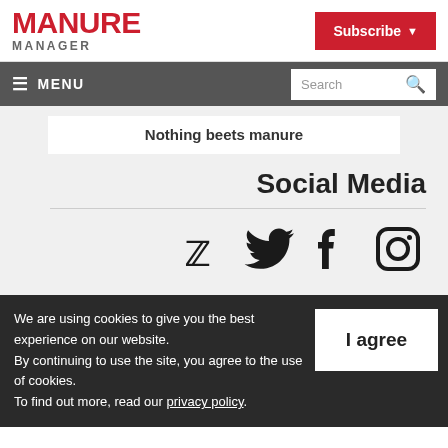MANURE MANAGER
Subscribe
≡ MENU | Search
Nothing beets manure
Social Media
[Figure (illustration): Twitter, Facebook, and Instagram social media icons]
We are using cookies to give you the best experience on our website. By continuing to use the site, you agree to the use of cookies. To find out more, read our privacy policy.
I agree